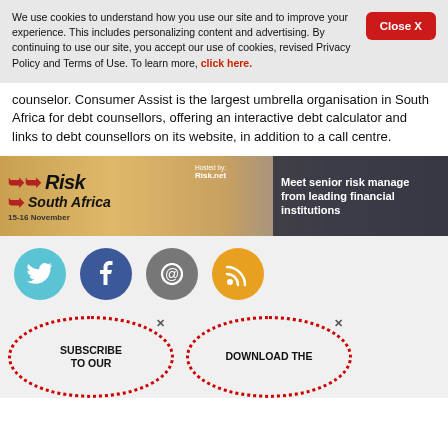We use cookies to understand how you use our site and to improve your experience. This includes personalizing content and advertising. By continuing to use our site, you accept our use of cookies, revised Privacy Policy and Terms of Use. To learn more, click here.
counselor. Consumer Assist is the largest umbrella organisation in South Africa for debt counsellors, offering an interactive debt calculator and links to debt counsellors on its website, in addition to a call centre.
[Figure (infographic): Risk South Africa advertisement banner. 15-16 November. Hosted by Risk.net. Meet senior risk managers from leading financial institutions.]
[Figure (infographic): Social media icons row: Twitter (light blue), Facebook (dark blue), Email (grey), RSS (orange/gold)]
[Figure (infographic): Two dotted red circle badges: SUBSCRIBE TO OUR and DOWNLOAD THE, with X close buttons]